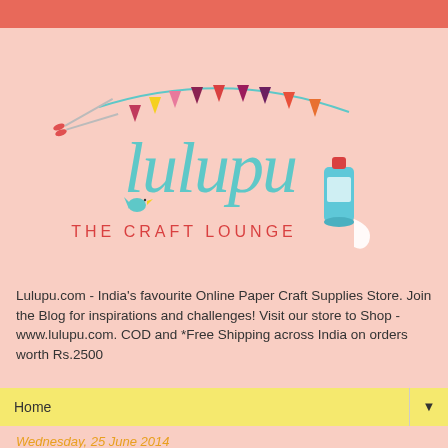[Figure (logo): Lulupu The Craft Lounge logo with scissors, bunting flags, bird, and glue on a pink background]
Lulupu.com - India's favourite Online Paper Craft Supplies Store. Join the Blog for inspirations and challenges! Visit our store to Shop - www.lulupu.com. COD and *Free Shipping across India on orders worth Rs.2500
Home ▼
Wednesday, 25 June 2014
'Hello@Lulupu' with Lulupu Logo colour challenge!